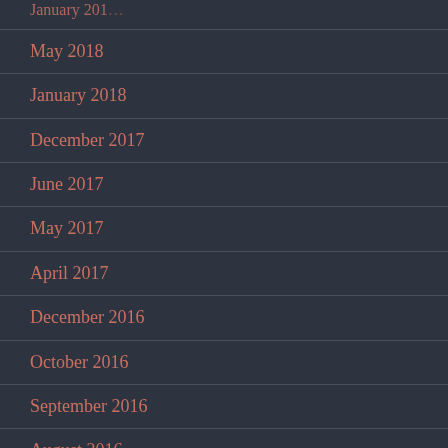January 2019 (partial, top cut off)
May 2018
January 2018
December 2017
June 2017
May 2017
April 2017
December 2016
October 2016
September 2016
August 2016
May 2016